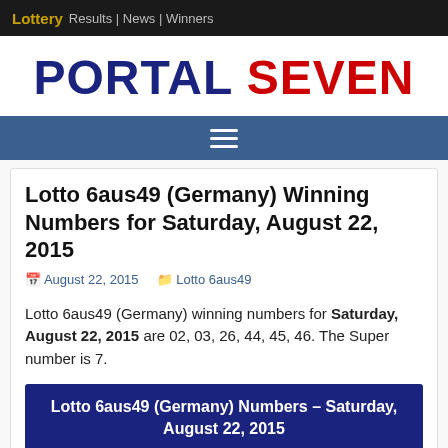Lottery Results | News | Winners
PORTAL SEVEN
Lotto 6aus49 (Germany) Winning Numbers for Saturday, August 22, 2015
August 22, 2015   Lotto 6aus49
Lotto 6aus49 (Germany) winning numbers for Saturday, August 22, 2015 are 02, 03, 26, 44, 45, 46. The Super number is 7.
Lotto 6aus49 (Germany) Numbers – Saturday, August 22, 2015